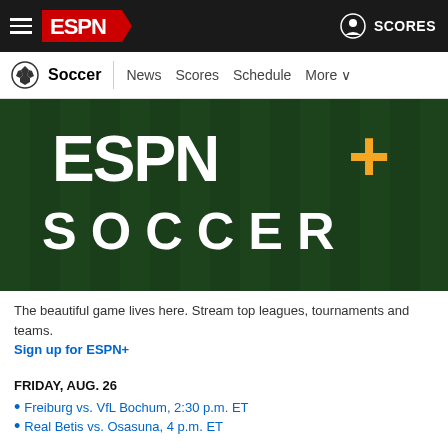ESPN Soccer - News, Scores, Schedule, More
[Figure (screenshot): ESPN+ Soccer hero image with ESPN+ logo on dark green grass background with text SOCCER below]
The beautiful game lives here. Stream top leagues, tournaments and teams.
Sign up for ESPN+
FRIDAY, AUG. 26
Freiburg vs. VfL Bochum, 2:30 p.m. ET
Real Betis vs. Osasuna, 4 p.m. ET
SATURDAY, AUG. 27
Hertha Berlin vs. Dortmund, 9:30 a.m. ET
Schalke vs. Union Berlin, 9:30 a.m. ET